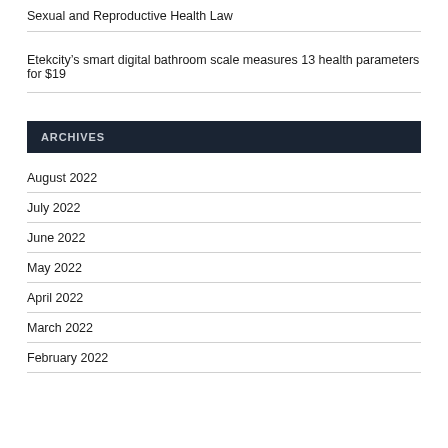Sexual and Reproductive Health Law
Etekcity's smart digital bathroom scale measures 13 health parameters for $19
ARCHIVES
August 2022
July 2022
June 2022
May 2022
April 2022
March 2022
February 2022